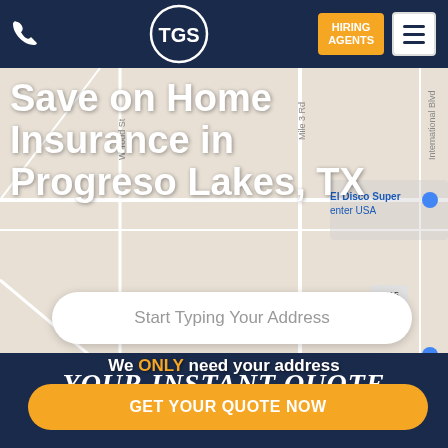TGS Insurance - Phone, Logo, Hiring Agents, Menu
Save on Home Insurance in Progreso Lakes, TX
Start Typing Your Address
We ONLY need your address
GET YOUR QUOTE NOW
YOUR INSTANT QUOTE WILL LOOK LIKE THIS